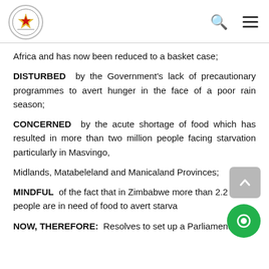Parliament of Zimbabwe – header with logo, search and menu icons
Africa and has now been reduced to a basket case;
DISTURBED by the Government's lack of precautionary programmes to avert hunger in the face of a poor rain season;
CONCERNED by the acute shortage of food which has resulted in more than two million people facing starvation particularly in Masvingo,
Midlands, Matabeleland and Manicaland Provinces;
MINDFUL of the fact that in Zimbabwe more than 2.2 million people are in need of food to avert starva…
NOW, THEREFORE: Resolves to set up a Parliamentary